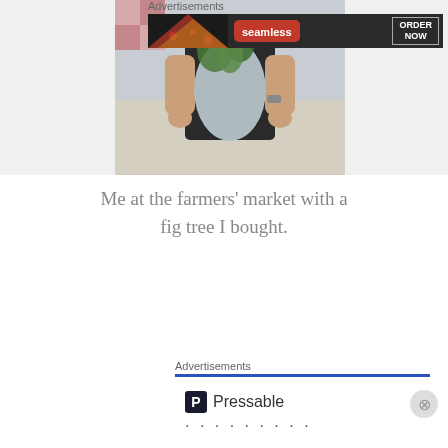[Figure (photo): Person at a farmers' market holding a fig tree wrapped in plastic bag, wearing a black shirt and a watch]
Me at the farmers' market with a fig tree I bought.
Advertisements
[Figure (screenshot): Pressable advertisement showing logo with P icon and text 'The Platform Where WordPress Works Best']
Advertisements
[Figure (screenshot): Seamless food delivery advertisement with pizza image, Seamless logo in red, and ORDER NOW button]